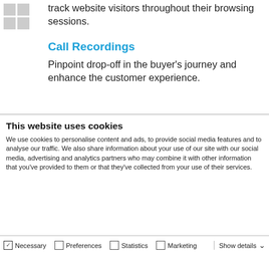track website visitors throughout their browsing sessions.
Call Recordings
Pinpoint drop-off in the buyer's journey and enhance the customer experience.
This website uses cookies
We use cookies to personalise content and ads, to provide social media features and to analyse our traffic. We also share information about your use of our site with our social media, advertising and analytics partners who may combine it with other information that you've provided to them or that they've collected from your use of their services.
Allow all cookies
Allow selection
Use necessary cookies only
Necessary  Preferences  Statistics  Marketing  Show details